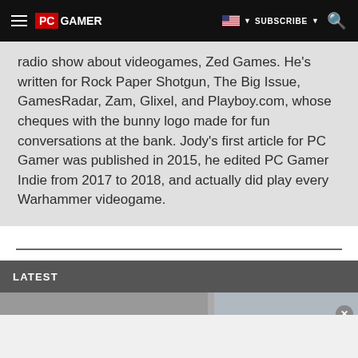PC GAMER | SUBSCRIBE
radio show about videogames, Zed Games. He's written for Rock Paper Shotgun, The Big Issue, GamesRadar, Zam, Glixel, and Playboy.com, whose cheques with the bunny logo made for fun conversations at the bank. Jody's first article for PC Gamer was published in 2015, he edited PC Gamer Indie from 2017 to 2018, and actually did play every Warhammer videogame.
LATEST